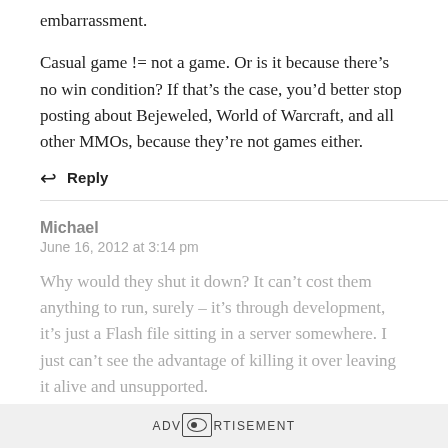embarrassment.
Casual game != not a game. Or is it because there’s no win condition? If that’s the case, you’d better stop posting about Bejeweled, World of Warcraft, and all other MMOs, because they’re not games either.
Reply
Michael
June 16, 2012 at 3:14 pm
Why would they shut it down? It can’t cost them anything to run, surely – it’s through development, it’s just a Flash file sitting in a server somewhere. I just can’t see the advantage of killing it over leaving it alive and unsupported.
ADVERTISEMENT